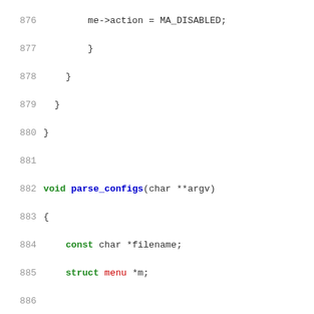Source code listing lines 876-902, C code for parse_configs function